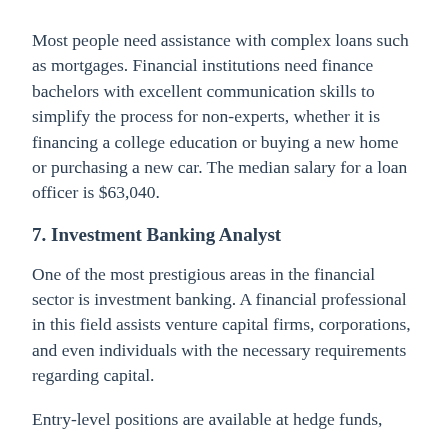Most people need assistance with complex loans such as mortgages. Financial institutions need finance bachelors with excellent communication skills to simplify the process for non-experts, whether it is financing a college education or buying a new home or purchasing a new car. The median salary for a loan officer is $63,040.
7. Investment Banking Analyst
One of the most prestigious areas in the financial sector is investment banking. A financial professional in this field assists venture capital firms, corporations, and even individuals with the necessary requirements regarding capital.
Entry-level positions are available at hedge funds,